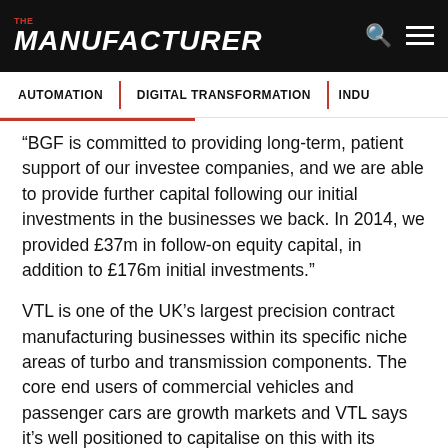THE MANUFACTURER
AUTOMATION | DIGITAL TRANSFORMATION | INDU...
“BGF is committed to providing long-term, patient support of our investee companies, and we are able to provide further capital following our initial investments in the businesses we back. In 2014, we provided £37m in follow-on equity capital, in addition to £176m initial investments.”
VTL is one of the UK’s largest precision contract manufacturing businesses within its specific niche areas of turbo and transmission components. The core end users of commercial vehicles and passenger cars are growth markets and VTL says it’s well positioned to capitalise on this with its technical expertise and world-class facilities. Existing customers include Cummins...